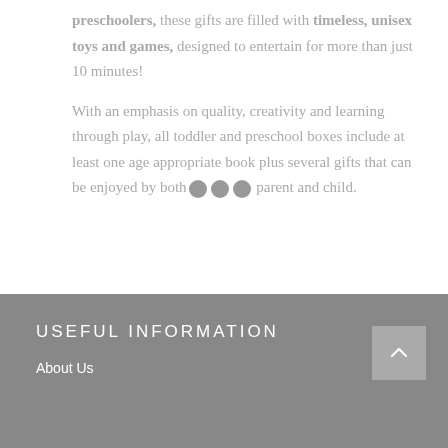preschoolers, these gifts are filled with timeless, unisex toys and games, designed to entertain for more than just 10 minutes!
With an emphasis on quality, creativity and learning through play, all toddler and preschool boxes include at least one age appropriate book plus several gifts that can be enjoyed by both parent and child.
USEFUL INFORMATION
About Us